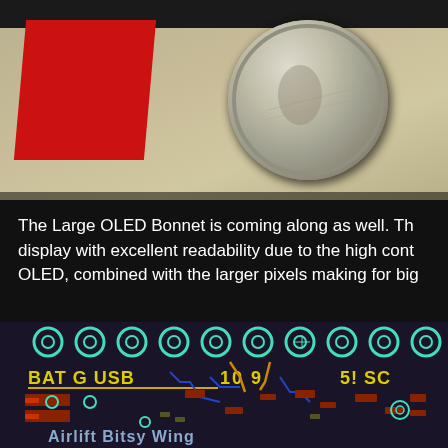[Figure (photo): Photo of a US quarter coin next to a red tape piece on a beige/tan surface, showing scale reference]
The Large OLED Bonnet is coming along as well. Th... display with excellent readability due to the high cont... OLED, combined with the larger pixels making for big...
[Figure (photo): PCB layout render/photo showing circuit board with labels BAT G USB S, numbers 10 9 7 5 SC, teal/green circular pads, red component pads, blue traces, and text 'Airlift Bitsy Wing' at bottom]